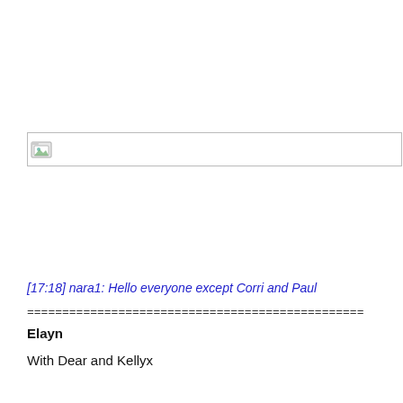[Figure (other): Broken/missing image placeholder with file icon and grey border]
[17:18] nara1: Hello everyone except Corri and Paul
================================================
Elayn
With Dear and Kellyx